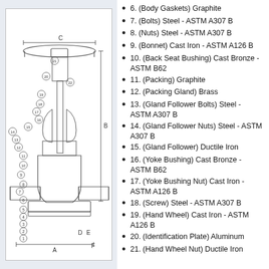[Figure (engineering-diagram): Cross-sectional engineering diagram of a gate valve with numbered parts (1-22) and dimension labels A, B, C, D, E, F indicated by arrows.]
6. (Body Gaskets) Graphite
7. (Bolts) Steel - ASTM A307 B
8. (Nuts) Steel - ASTM A307 B
9. (Bonnet) Cast Iron - ASTM A126 B
10. (Back Seat Bushing) Cast Bronze - ASTM B62
11. (Packing) Graphite
12. (Packing Gland) Brass
13. (Gland Follower Bolts) Steel - ASTM A307 B
14. (Gland Follower Nuts) Steel - ASTM A307 B
15. (Gland Follower) Ductile Iron
16. (Yoke Bushing) Cast Bronze - ASTM B62
17. (Yoke Bushing Nut) Cast Iron - ASTM A126 B
18. (Screw) Steel - ASTM A307 B
19. (Hand Wheel) Cast Iron - ASTM A126 B
20. (Identification Plate) Aluminum
21. (Hand Wheel Nut) Ductile Iron